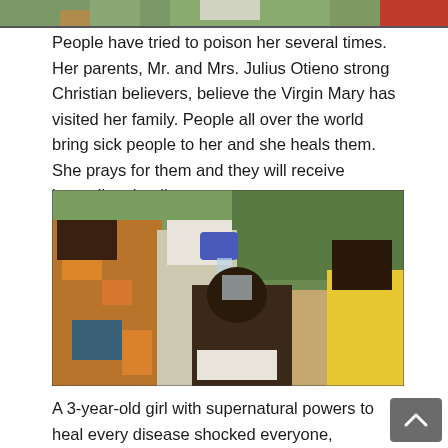[Figure (photo): Partial top strip of a photo showing greenery/trees and a red element at the right edge, cropped at the top of the page.]
People have tried to poison her several times. Her parents, Mr. and Mrs. Julius Otieno strong Christian believers, believe the Virgin Mary has visited her family. People all over the world bring sick people to her and she heals them. She prays for them and they will receive immediate healing.
[Figure (photo): A young girl wearing a white head covering pours water from a blue cup onto the head of a seated person, outdoors in a green/sandy setting. Other people including a person in yellow clothing are visible nearby.]
A 3-year-old girl with supernatural powers to heal every disease shocked everyone, Afrimax English wrote on its Facebook official